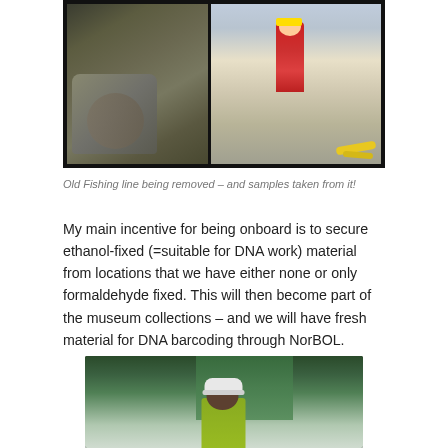[Figure (photo): Two-panel composite photo: left panel shows a gloved hand holding marine organism (fishing line debris), right panel shows a person in red safety suit/overalls standing on a boat deck with equipment and yellow rope visible]
Old Fishing line being removed – and samples taken from it!
My main incentive for being onboard is to secure ethanol-fixed (=suitable for DNA work) material from locations that we have either none or only formaldehyde fixed. This will then become part of the museum collections – and we will have fresh material for DNA barcoding through NorBOL.
[Figure (photo): Partially visible photo of a person wearing a white cap and green/yellow high-visibility vest, standing near green netting on a boat]